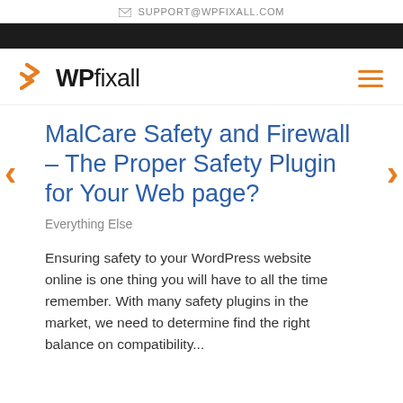✉ SUPPORT@WPFIXALL.COM
[Figure (logo): WPfixall logo with orange chevron arrows and bold text]
MalCare Safety and Firewall – The Proper Safety Plugin for Your Web page?
Everything Else
Ensuring safety to your WordPress website online is one thing you will have to all the time remember. With many safety plugins in the market, we need to determine find the right balance on compatibility...